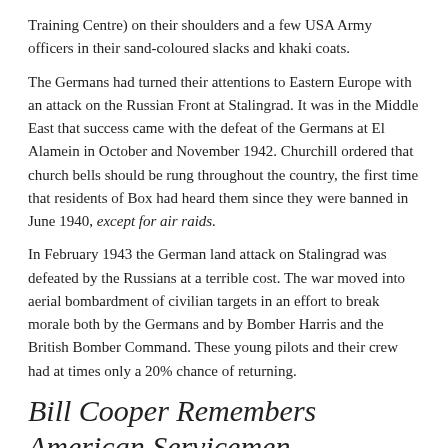Training Centre) on their shoulders and a few USA Army officers in their sand-coloured slacks and khaki coats.
The Germans had turned their attentions to Eastern Europe with an attack on the Russian Front at Stalingrad. It was in the Middle East that success came with the defeat of the Germans at El Alamein in October and November 1942. Churchill ordered that church bells should be rung throughout the country, the first time that residents of Box had heard them since they were banned in June 1940, except for air raids.
In February 1943 the German land attack on Stalingrad was defeated by the Russians at a terrible cost. The war moved into aerial bombardment of civilian targets in an effort to break morale both by the Germans and by Bomber Harris and the British Bomber Command. These young pilots and their crew had at times only a 20% chance of returning.
Bill Cooper Remembers American Servicemen
Another memory is one of two American infantrymen being billeted on us for a few days prior to D-Day. They didn't eat their lunch at our sister and ...